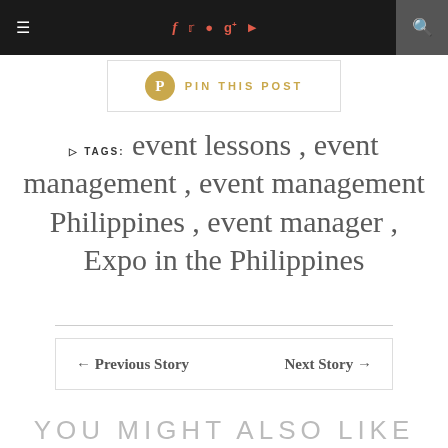Navigation bar with hamburger menu, social icons (f, twitter, instagram, g+, youtube), and search
[Figure (other): PIN THIS POST button with Pinterest circle icon in gold]
TAGS: event lessons , event management , event management Philippines , event manager , Expo in the Philippines
← Previous Story   Next Story →
YOU MIGHT ALSO LIKE